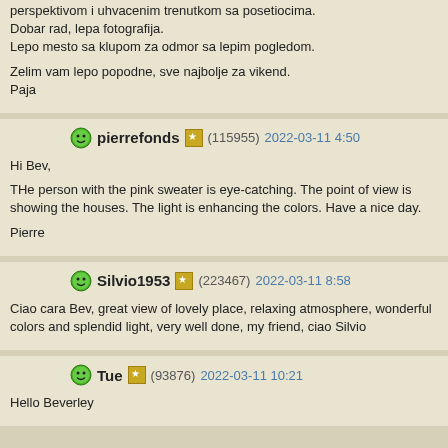perspektivom i uhvacenim trenutkom sa posetiocima.
Dobar rad, lepa fotografija.
Lepo mesto sa klupom za odmor sa lepim pogledom.

Zelim vam lepo popodne, sve najbolje za vikend.
Paja
pierrefonds (115955) 2022-03-11 4:50

Hi Bev,

THe person with the pink sweater is eye-catching. The point of view is showing the houses. The light is enhancing the colors. Have a nice day.

Pierre
Silvio1953 (223467) 2022-03-11 8:58

Ciao cara Bev, great view of lovely place, relaxing atmosphere, wonderful colors and splendid light, very well done, my friend, ciao Silvio
Tue (93876) 2022-03-11 10:21

Hello Beverley